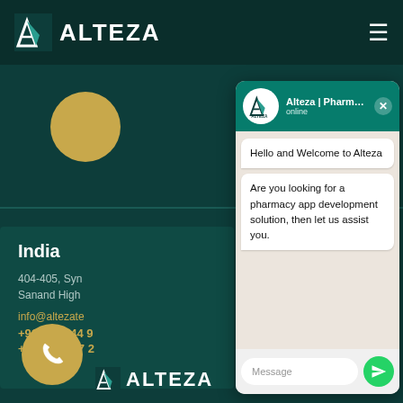[Figure (screenshot): Alteza Pharma IT website screenshot with dark teal background, navigation bar with Alteza logo and hamburger menu, a gold decorative circle, India contact section showing address, email and phone numbers, a WhatsApp chat popup with messages 'Hello and Welcome to Alteza' and 'Are you looking for a pharmacy app development solution, then let us assist you.', a message input field, and the Alteza logo at the bottom.]